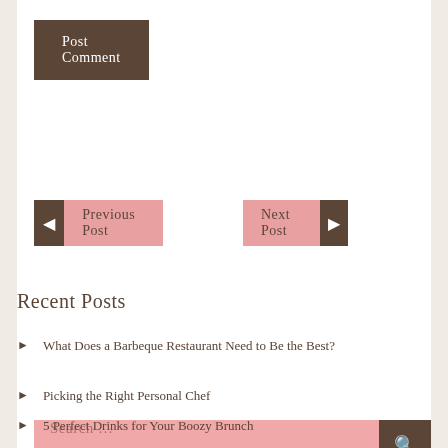Post Comment
◄ Previous Post
Next Post ►
Search …
Recent Posts
What Does a Barbeque Restaurant Need to Be the Best?
Picking the Right Personal Chef
5 Perfect Drinks for Your Boozy Brunch
Tips to Find a Nice Restaurant for Date Night